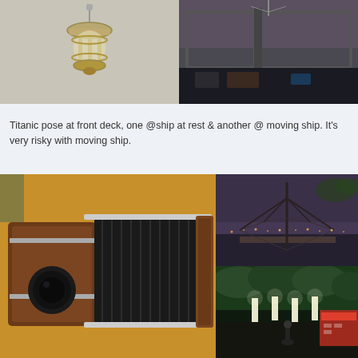[Figure (photo): An antique brass ship lantern/cage light mounted on a white wall]
[Figure (photo): View from a ship's bridge/cockpit at dusk showing the sea horizon through windows with instruments in foreground]
Titanic pose at front deck, one @ship at rest & another @ moving ship. It's very risky with moving ship.
[Figure (photo): Close-up of an antique vintage folding bellows camera with wooden body and leather bellows, on a yellow background]
[Figure (photo): Chinese fishing nets at dusk/evening with city lights in background]
[Figure (photo): Illuminated night market or bazaar with green plants and lights overhead]